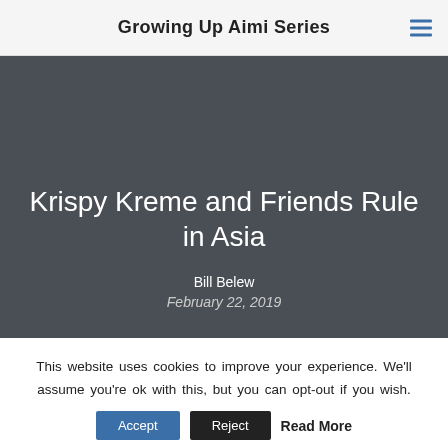Growing Up Aimi Series
Krispy Kreme and Friends Rule in Asia
Bill Belew
February 22, 2019
This website uses cookies to improve your experience. We'll assume you're ok with this, but you can opt-out if you wish.